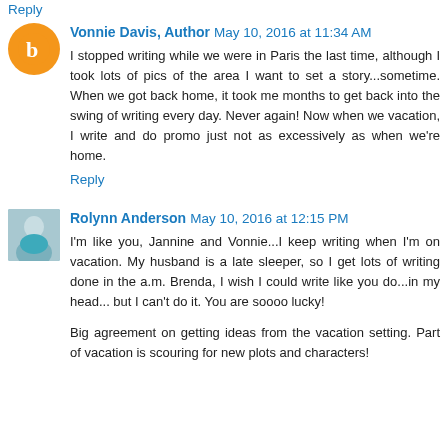Reply
Vonnie Davis, Author  May 10, 2016 at 11:34 AM
I stopped writing while we were in Paris the last time, although I took lots of pics of the area I want to set a story...sometime. When we got back home, it took me months to get back into the swing of writing every day. Never again! Now when we vacation, I write and do promo just not as excessively as when we're home.
Reply
Rolynn Anderson  May 10, 2016 at 12:15 PM
I'm like you, Jannine and Vonnie...I keep writing when I'm on vacation. My husband is a late sleeper, so I get lots of writing done in the a.m. Brenda, I wish I could write like you do...in my head... but I can't do it. You are soooo lucky!
Big agreement on getting ideas from the vacation setting. Part of vacation is scouring for new plots and characters!